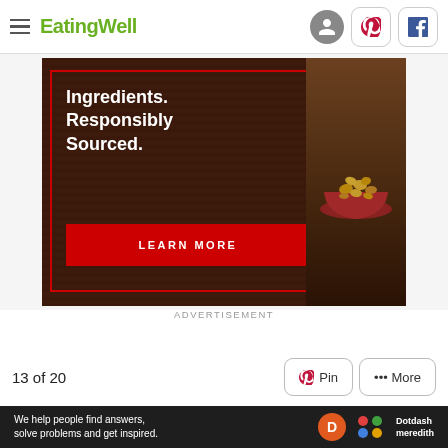EatingWell
[Figure (photo): Advertisement banner showing dog food with text 'Ingredients. Responsibly Sourced.' and a red LEARN MORE button, with a bowl of kibble on a dark wood background]
ADVERTISEMENT
13 of 20
[Figure (photo): Top portion of a bowl of soup with greens visible, dark background]
[Figure (logo): Dotdash Meredith logo with orange D circle and colorful dots, with tagline 'We help people find answers, solve problems and get inspired.']